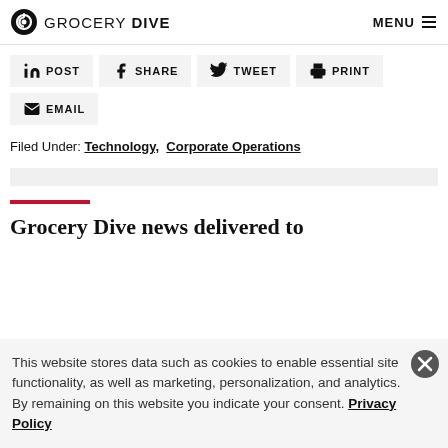GROCERY DIVE | MENU
in POST   f SHARE   Twitter TWEET   Print PRINT   Email EMAIL
Filed Under: Technology,  Corporate Operations
Grocery Dive news delivered to
This website stores data such as cookies to enable essential site functionality, as well as marketing, personalization, and analytics. By remaining on this website you indicate your consent. Privacy Policy